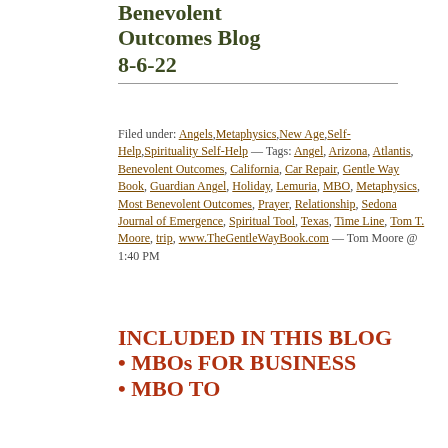Benevolent Outcomes Blog 8-6-22
Filed under: Angels,Metaphysics,New Age,Self-Help,Spirituality Self-Help — Tags: Angel, Arizona, Atlantis, Benevolent Outcomes, California, Car Repair, Gentle Way Book, Guardian Angel, Holiday, Lemuria, MBO, Metaphysics, Most Benevolent Outcomes, Prayer, Relationship, Sedona Journal of Emergence, Spiritual Tool, Texas, Time Line, Tom T. Moore, trip, www.TheGentleWayBook.com — Tom Moore @ 1:40 PM
INCLUDED IN THIS BLOG
• MBOs FOR BUSINESS
• MBO TO